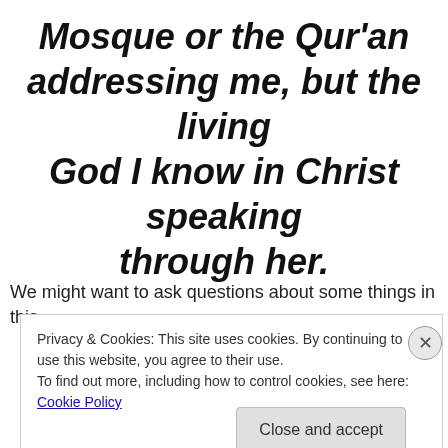Mosque or the Qur'an addressing me, but the living God I know in Christ speaking through her.
We might want to ask questions about some things in this
Privacy & Cookies: This site uses cookies. By continuing to use this website, you agree to their use.
To find out more, including how to control cookies, see here: Cookie Policy
Close and accept